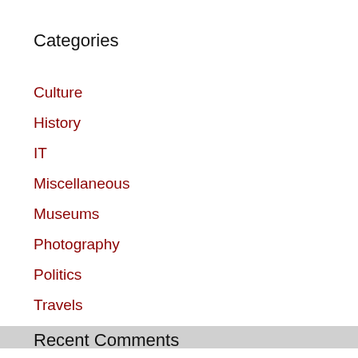Categories
Culture
History
IT
Miscellaneous
Museums
Photography
Politics
Travels
Recent Comments